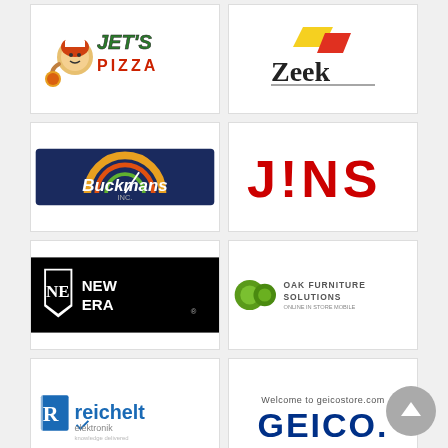[Figure (logo): Jet's Pizza logo with cartoon character and green/red text]
[Figure (logo): Zeek logo with yellow and red geometric shapes above bold serif text]
[Figure (logo): Buckmans logo on dark navy background with white italic text]
[Figure (logo): JINS logo in bold red capital letters]
[Figure (logo): New Era cap logo with flag icon and white text on black background]
[Figure (logo): Oak Furniture Solutions logo with green circular icons]
[Figure (logo): Reichelt elektronik logo in blue text]
[Figure (logo): GEICO logo with welcome text above bold navy letters]